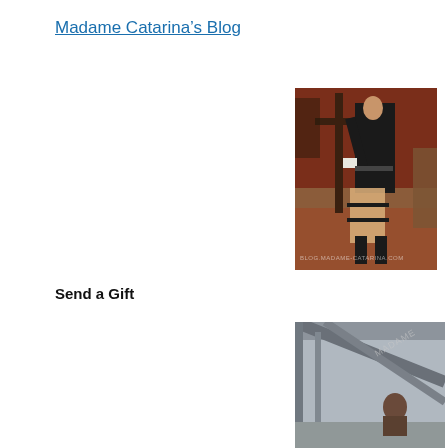Madame Catarina’s Blog
[Figure (photo): A woman in black leather outfit posing with another person in a room with red walls and wooden furniture. Watermark reads BLOG.MADAME-CATARINA.COM]
Send a Gift
[Figure (photo): Partial photo showing an outdoor corridor or balcony with structural beams, and a person seated, watermark visible reading MADAME]